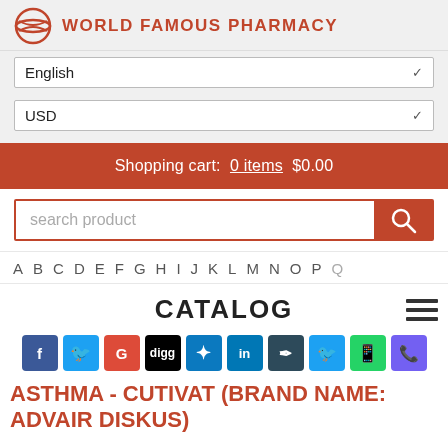WORLD FAMOUS PHARMACY
English
USD
Shopping cart: 0 items $0.00
search product
A B C D E F G H I J K L M N O P
CATALOG
[Figure (other): Social media share icons: Facebook, Twitter, Google+, Digg, Delicious, LinkedIn, Pinterest, Twitter, WhatsApp, Viber]
ASTHMA - CUTIVAT (BRAND NAME: ADVAIR DISKUS)